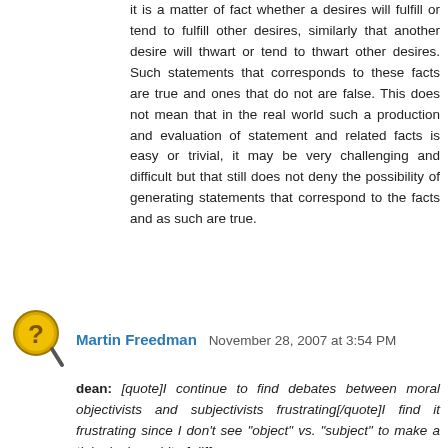it is a matter of fact whether a desires will fulfill or tend to fulfill other desires, similarly that another desire will thwart or tend to thwart other desires. Such statements that corresponds to these facts are true and ones that do not are false. This does not mean that in the real world such a production and evaluation of statement and related facts is easy or trivial, it may be very challenging and difficult but that still does not deny the possibility of generating statements that correspond to the facts and as such are true.
Reply
Martin Freedman  November 28, 2007 at 3:54 PM
dean: [quote]I continue to find debates between moral objectivists and subjectivists frustrating[/quote]I find it frustrating since I don't see "object" vs. "subject" to make a tinker's damn bit of difference. It seems that you like, db0 are still victims of the false dichotomy between objectivism and subjectivism. Either there are intrinsic value or there are just emotions and/or opinions. Of course, you are not alone and many and most